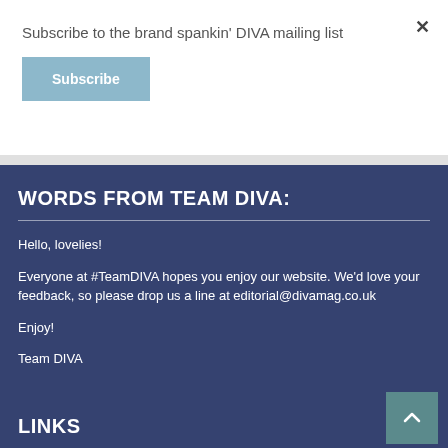Subscribe to the brand spankin' DIVA mailing list
Subscribe
WORDS FROM TEAM DIVA:
Hello, lovelies!
Everyone at #TeamDIVA hopes you enjoy our website. We'd love your feedback, so please drop us a line at editorial@divamag.co.uk
Enjoy!
Team DIVA
LINKS